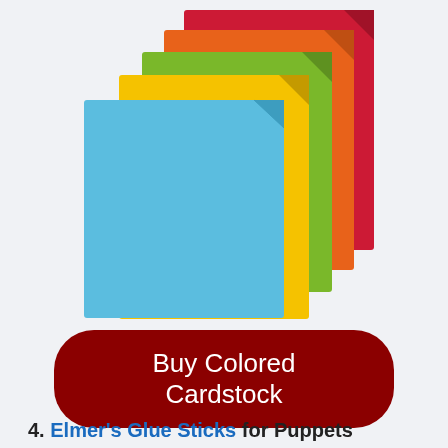[Figure (illustration): A stack of colored cardstock sheets fanned out — blue on top/front, then yellow, green, orange, and red/crimson behind, each slightly offset to the right and upward. The sheets appear as flat rectangular paper with slight corner folds.]
Buy Colored Cardstock
4. Elmer's Glue Sticks for Puppets